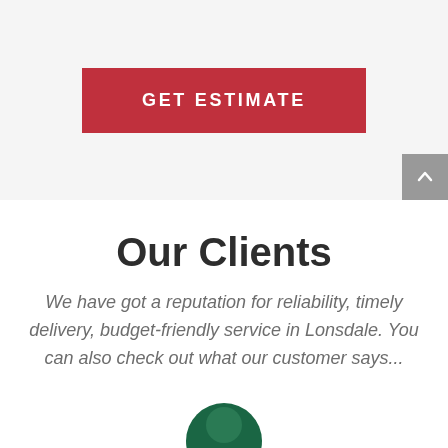[Figure (other): Red button with white uppercase text reading GET ESTIMATE on a light gray background]
Our Clients
We have got a reputation for reliability, timely delivery, budget-friendly service in Lonsdale. You can also check out what our customer says...
[Figure (illustration): Partial circular avatar image at bottom of page, dark green color]